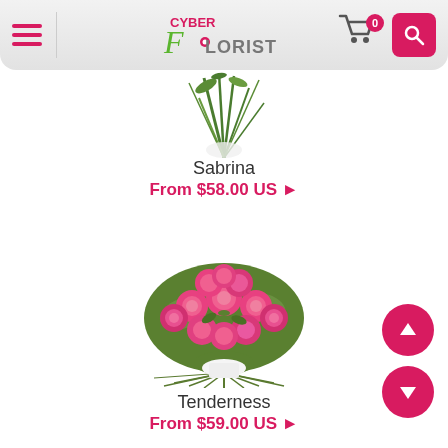Cyber Florist — navigation header with menu, logo, cart (0), search
[Figure (photo): Partial view of a flower bouquet (Sabrina) — green stems and foliage visible at top]
Sabrina
From $58.00 US ▶
[Figure (photo): Pink roses bouquet (Tenderness) with green foliage arranged in a round dome shape]
Tenderness
From $59.00 US ▶